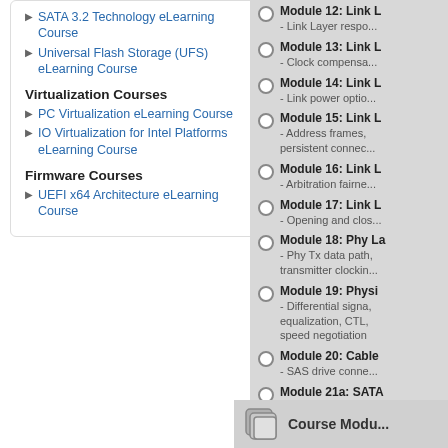SATA 3.2 Technology eLearning Course
Universal Flash Storage (UFS) eLearning Course
Virtualization Courses
PC Virtualization eLearning Course
IO Virtualization for Intel Platforms eLearning Course
Firmware Courses
UEFI x64 Architecture eLearning Course
Module 12: Link L - Link Layer respo...
Module 13: Link L - Clock compensa...
Module 14: Link L - Link power optio...
Module 15: Link L - Address frames, persistent connec...
Module 16: Link L - Arbitration fairne...
Module 17: Link L - Opening and clos...
Module 18: Phy La - Phy Tx data path, transmitter clockin...
Module 19: Physi - Differential signa, equalization, CTL, speed negotiation
Module 20: Cable - SAS drive conne...
Module 21a: SATA - SATA layers, SA, SAS frame vs SAT
Module 21b: SATA - SATA flow contro, command queuing
Module 22: Apper - Expander model, multiplexing, SAS
Course Modu...